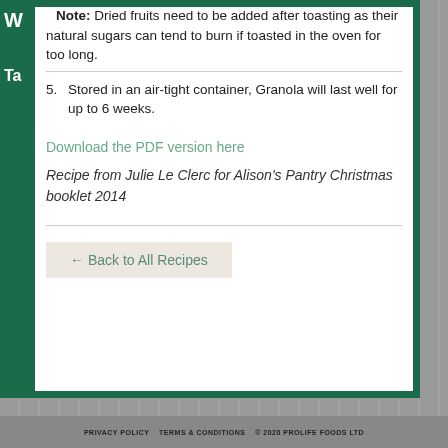Note: Dried fruits need to be added after toasting as their natural sugars can tend to burn if toasted in the oven for too long.
5. Stored in an air-tight container, Granola will last well for up to 6 weeks.
Download the PDF version here
Recipe from Julie Le Clerc for Alison's Pantry Christmas booklet 2014
← Back to All Recipes
PRIVACY POLICY   TERMS & CONDITIONS   © 2020 PROLIFE FOODS LTD